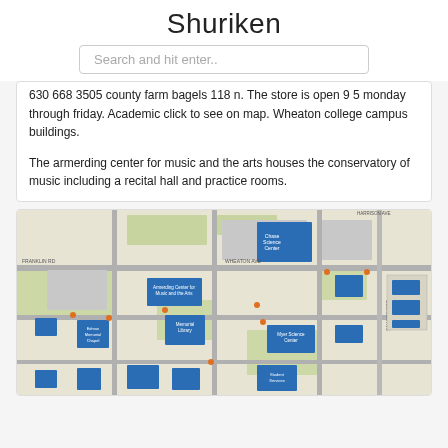Shuriken
Search and hit enter..
630 668 3505 county farm bagels 118 n. The store is open 9 5 monday through friday. Academic click to see on map. Wheaton college campus buildings.
The armerding center for music and the arts houses the conservatory of music including a recital hall and practice rooms.
[Figure (map): Wheaton College campus map showing buildings labeled in blue on a beige/green background with streets and pathways. Notable buildings include Armerding Center for Music and the Arts, Edman Memorial Chapel, Memorial Library, Chase Science Center, Myer Science Center, and others.]